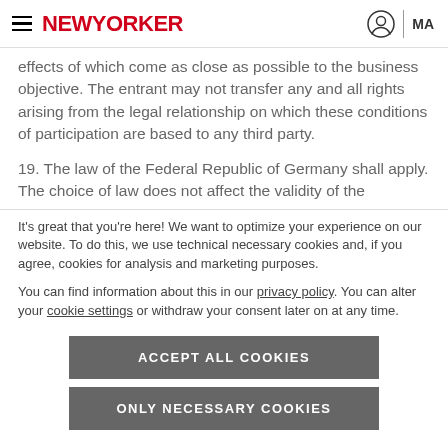NewYorker | MA
effects of which come as close as possible to the business objective. The entrant may not transfer any and all rights arising from the legal relationship on which these conditions of participation are based to any third party.
19. The law of the Federal Republic of Germany shall apply. The choice of law does not affect the validity of the
It's great that you're here! We want to optimize your experience on our website. To do this, we use technical necessary cookies and, if you agree, cookies for analysis and marketing purposes.
You can find information about this in our privacy policy. You can alter your cookie settings or withdraw your consent later on at any time.
ACCEPT ALL COOKIES
ONLY NECESSARY COOKIES